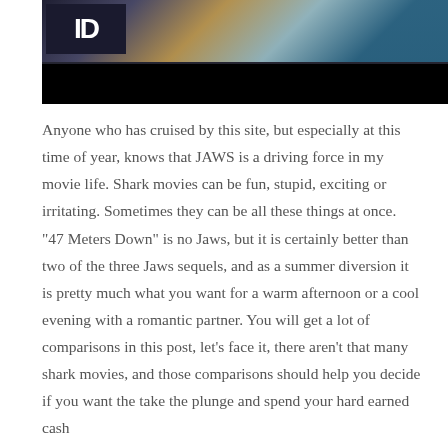[Figure (photo): A dark cinematic image with a glowing colorful upper portion and a black bar at the bottom, with a logo box in the upper left corner showing stylized text.]
Anyone who has cruised by this site, but especially at this time of year, knows that JAWS is a driving force in my movie life. Shark movies can be fun, stupid, exciting or irritating. Sometimes they can be all these things at once.  "47 Meters Down" is no Jaws, but it is certainly better than two of the three Jaws sequels, and as a summer diversion it is pretty much what you want for a warm afternoon or a cool evening with a romantic partner. You will get a lot of comparisons in this post, let's face it, there aren't that many shark movies, and those comparisons should help you decide if you want the take the plunge and spend your hard earned cash